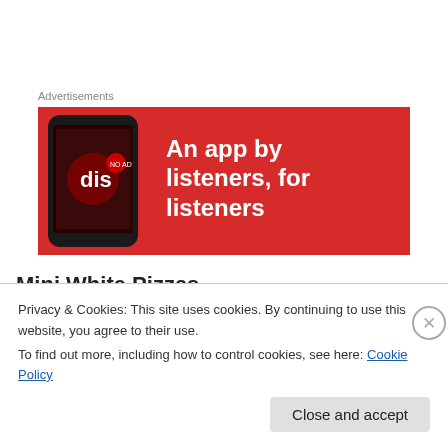Advertisements
[Figure (illustration): Red advertisement banner with a smartphone showing a music app on the left, and white bold text reading 'An app by listeners, for listeners' on the right.]
Mini White Pizzas
Ingredients
1 container thin crust pizza dough
Privacy & Cookies: This site uses cookies. By continuing to use this website, you agree to their use.
To find out more, including how to control cookies, see here: Cookie Policy